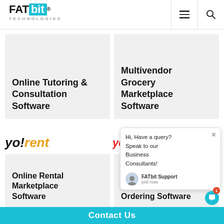FATbit TECHNOLOGIES
Online Tutoring & Consultation Software
Multivendor Grocery Marketplace Software
[Figure (logo): yo!rent logo in black and orange italic text]
[Figure (logo): yoyumm logo in red italic text with smiley face]
Online Rental Marketplace Software
Online Food Ordering Software
Hi, Have a query? Speak to our Business Consultants! FATbit Support just now
Contact Us